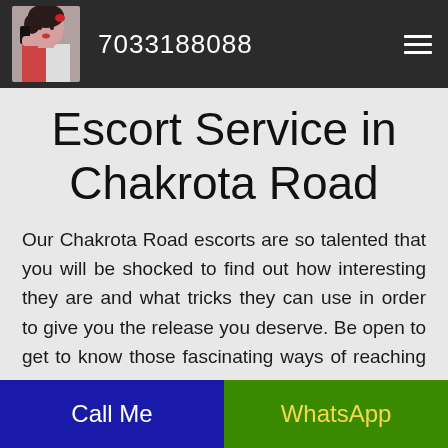7033188088
Escort Service in Chakrota Road
Our Chakrota Road escorts are so talented that you will be shocked to find out how interesting they are and what tricks they can use in order to give you the release you deserve. Be open to get to know those fascinating ways of reaching heaven. It is accessible for anybody so don't be
Call Me | WhatsApp